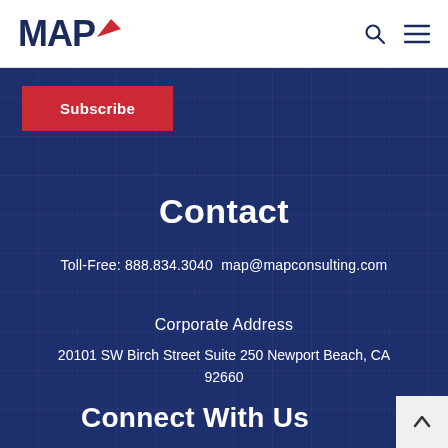MAP
Subscribe
Contact
Toll-Free: 888.834.3040  map@mapconsulting.com
Corporate Address
20101 SW Birch Street Suite 250 Newport Beach, CA 92660
Connect With Us